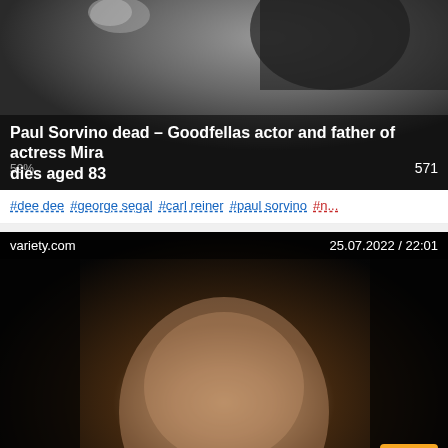[Figure (photo): News card 1: photo of a person (Paul Sorvino) with dark/grey tones]
Paul Sorvino dead – Goodfellas actor and father of actress Mira dies aged 83
59% 571
#dee dee  #george segal  #carl reiner  #paul sorvino  #n...
[Figure (photo): News card 2: photo of Paul Sorvino smiling, dark background, from variety.com, dated 25.07.2022 / 22:01]
Paul Sorvino, 'Goodfellas' Actor, Dies at 83
48% 9
#mira sorvino  #warren beatty  #paul sorvino  #county ...